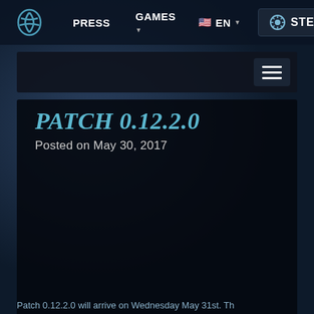PRESS  GAMES  EN  STEAM
PATCH 0.12.2.0
Posted on May 30, 2017
Patch 0.12.2.0 will arrive on Wednesday May 31st. Th